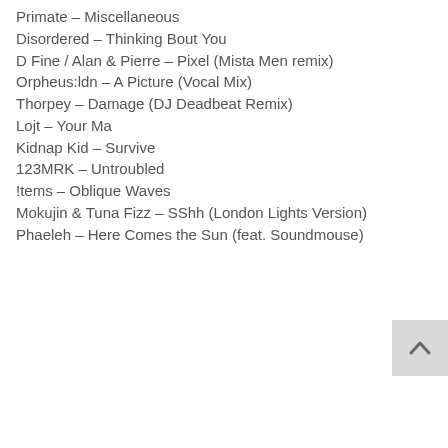Primate – Miscellaneous
Disordered – Thinking Bout You
D Fine / Alan & Pierre – Pixel (Mista Men remix)
Orpheus:ldn – A Picture (Vocal Mix)
Thorpey – Damage (DJ Deadbeat Remix)
Lojt – Your Ma
Kidnap Kid – Survive
123MRK – Untroubled
!tems – Oblique Waves
Mokujin & Tuna Fizz – SShh (London Lights Version)
Phaeleh – Here Comes the Sun (feat. Soundmouse)